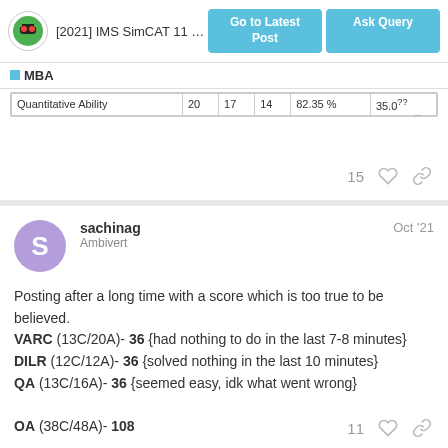[2021] IMS SimCAT 11 (Octobe... | Go to Latest Post | Ask Query | MBA
| Quantitative Ability | 20 | 17 | 14 | 82.35 % | 35.0?? |
| --- | --- | --- | --- | --- | --- |
15
sachinag
Ambivert
Oct '21
Posting after a long time with a score which is too true to be believed.
VARC (13C/20A)- 36 {had nothing to do in the last 7-8 minutes}
DILR (12C/12A)- 36 {solved nothing in the last 10 minutes}
QA (13C/16A)- 36 {seemed easy, idk what went wrong}

OA (38C/48A)- 108
11